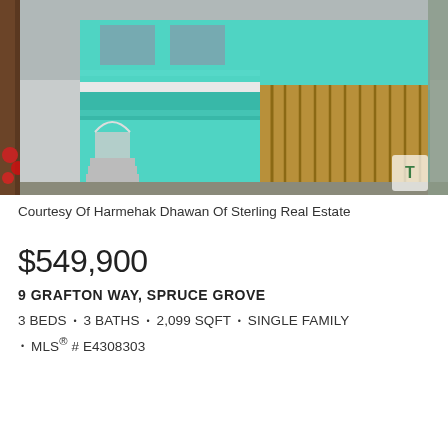[Figure (photo): Exterior photo of a house under construction with teal/turquoise insulation wrap visible on the walls and an open garage framing. Christmas decorations visible on the left side.]
Courtesy Of Harmehak Dhawan Of Sterling Real Estate
$549,900
9 GRAFTON WAY, SPRUCE GROVE
3 BEDS • 3 BATHS • 2,099 SQFT • SINGLE FAMILY • MLS® # E4308303